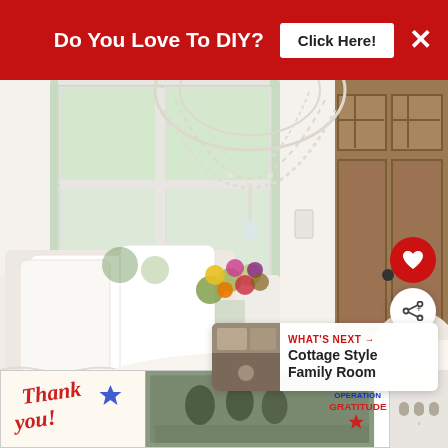[Figure (other): Red banner advertisement: 'Do You Love To DIY?' with 'Click Here!' button and close X]
[Figure (photo): Bright white cottage-style entryway/dining area with pearl chandelier, white cushioned bench with pillows, colorful flower bouquet on white table, wooden front door visible in background]
[Figure (other): Heart (favorite) button - red circle with white heart icon]
[Figure (other): Share button - white circle with share icon]
[Figure (other): WHAT'S NEXT card showing thumbnail and text 'Cottage Style Family Room']
[Figure (other): Bottom advertisement banner: 'Thank you' military Operation Gratitude ad with close button]